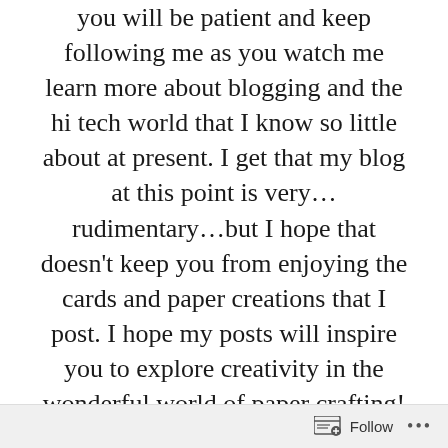you will be patient and keep following me as you watch me learn more about blogging and the hi tech world that I know so little about at present. I get that my blog at this point is very…rudimentary…but I hope that doesn't keep you from enjoying the cards and paper creations that I post. I hope my posts will inspire you to explore creativity in the wonderful world of paper crafting!
I challenged myself to make some birthday cards with the Balloon Bouquet Punch but without it's
Follow